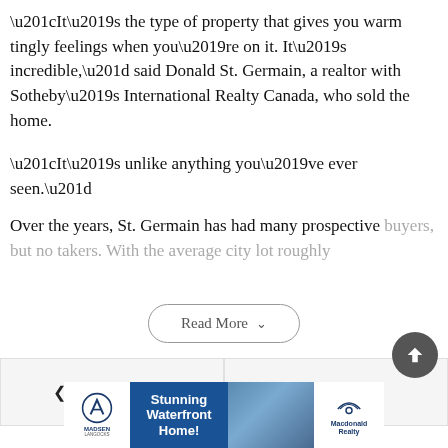“It’s the type of property that gives you warm tingly feelings when you’re on it. It’s incredible,” said Donald St. Germain, a realtor with Sotheby’s International Realty Canada, who sold the home.
“It’s unlike anything you’ve ever seen.”
Over the years, St. Germain has had many prospective buyers, but no takers. With the average city lot roughly
Read More
Previous story
Next story
[Figure (other): Back to top button - dark circular button with upward chevron arrow]
[Figure (other): Advertisement banner for Madsen Langocks and Macdonald Realty featuring Stunning Waterfront Home]